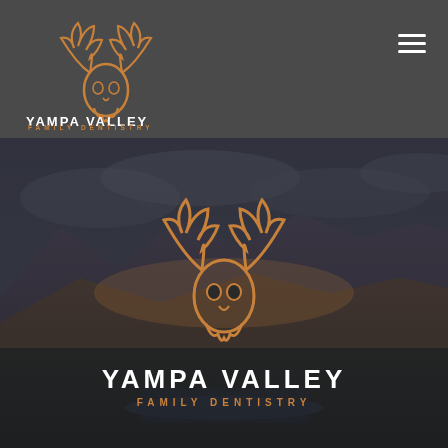[Figure (logo): Yampa Valley Family Dentistry logo in header — elk skull with antlers in orange/brown, on dark gray background]
YAMPA VALLEY
FAMILY DENTISTRY
[Figure (photo): Scenic landscape photo of Yampa Valley — mountains, river, fields under cloudy sunset sky, dark overlay]
[Figure (logo): Yampa Valley Family Dentistry logo centered over landscape — large elk skull with antlers in orange, with YAMPA VALLEY and FAMILY DENTISTRY text below in white and orange]
YAMPA VALLEY
FAMILY DENTISTRY